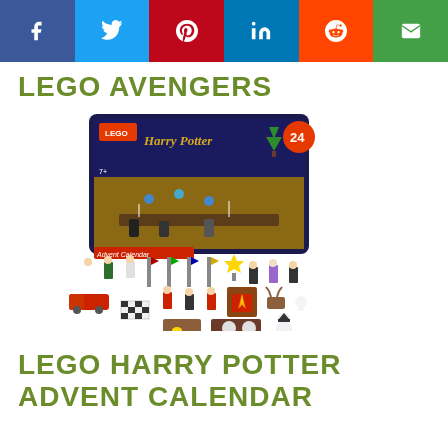[Figure (infographic): Social sharing bar with icons: Facebook (blue), Twitter (light blue), Pinterest (red), LinkedIn (blue), Reddit (orange-red), Email (green)]
LEGO AVENGERS
[Figure (photo): LEGO Harry Potter Advent Calendar product photo showing the box and all minifigures and accessories laid out, including characters, the Hogwarts Express, chess set, holiday decorations, and house banners.]
LEGO HARRY POTTER ADVENT CALENDAR